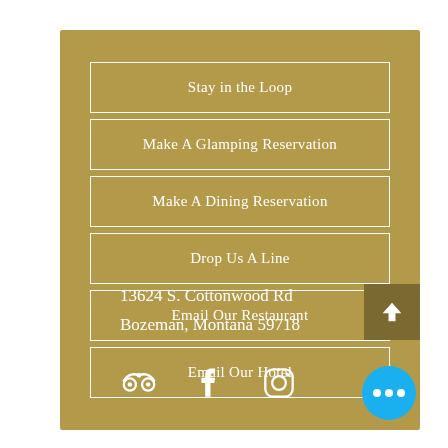Stay in the Loop
Make A Glamping Reservation
Make A Dining Reservation
Drop Us A Line
Email Our Restaurant
Email Our Hotel
13624 S. Cottonwood Rd
Bozeman, Montana 59718
[Figure (infographic): Social media icons: TripAdvisor, Facebook, Instagram. Back-to-top arrow button. Live chat button with three dots.]